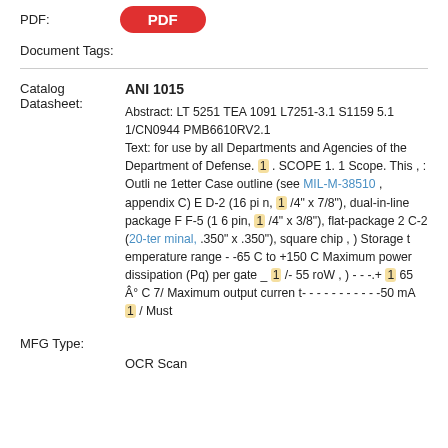PDF:
[Figure (other): Red rounded rectangle button with white bold text 'PDF']
Document Tags:
Catalog Datasheet:
ANI 1015
Abstract: LT 5251 TEA 1091 L7251-3.1 S1159 5.1 1/CN0944 PMB6610RV2.1
Text: for use by all Departments and Agencies of the Department of Defense. 1 . SCOPE 1. 1 Scope. This , : Outli ne 1etter Case outline (see MIL-M-38510 , appendix C) E D-2 (16 pi n, 1 /4" x 7/8"), dual-in-line package F F-5 (1 6 pin, 1 /4" x 3/8"), flat-package 2 C-2 (20-terminal, .350" x .350"), square chip , ) Storage t emperature range - -65 C to +150 C Maximum power dissipation (Pq) per gate _ 1 /- 55 roW , ) - - -.+ 1 65 Â° C 7/ Maximum output curren t- - - - - - - - - - -50 mA 1 / Must
MFG Type:
OCR Scan